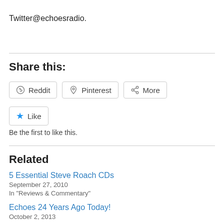Twitter@echoesradio.
Share this:
Reddit  Pinterest  More
Like
Be the first to like this.
Related
5 Essential Steve Roach CDs
September 27, 2010
In "Reviews & Commentary"
Echoes 24 Years Ago Today!
October 2, 2013